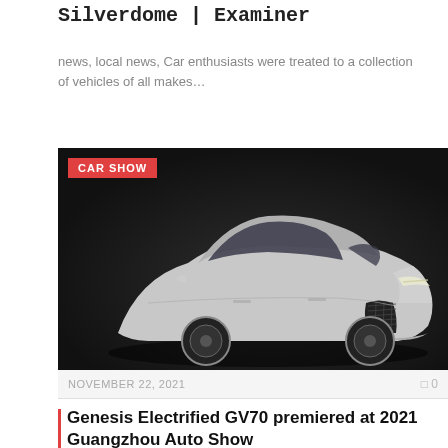Silverdome | Examiner
news, local news, Car enthusiasts were treated to a collection of vehicles of all makes...
[Figure (photo): Black and white promotional photo of a Genesis Electrified GV70 luxury SUV on a dark background, with a red 'CAR SHOW' badge overlay in the top-left corner.]
NOVEMBER 22, 2021   0
Genesis Electrified GV70 premiered at 2021 Guangzhou Auto Show
Genesis Electrified GV70 premiered at 2021 Guangzhou Auto Show The Genesis brand unveiled its “Electrified...